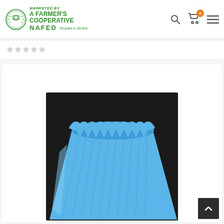[Figure (logo): NAFED logo - Marketed by A Farmer's Cooperative, 60 years in Service, with green circular emblem]
★★★★★ (0 stars rating)
[Figure (photo): Blue ribbed plastic flower pot/planter with scalloped wavy top edge, photographed from above at an angle showing interior]